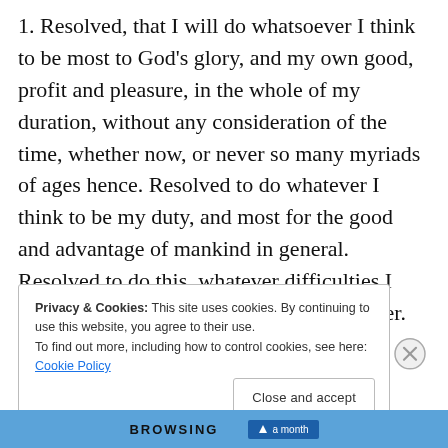1. Resolved, that I will do whatsoever I think to be most to God's glory, and my own good, profit and pleasure, in the whole of my duration, without any consideration of the time, whether now, or never so many myriads of ages hence. Resolved to do whatever I think to be my duty, and most for the good and advantage of mankind in general. Resolved to do this, whatever difficulties I meet with, how many and how great soever.
Privacy & Cookies: This site uses cookies. By continuing to use this website, you agree to their use. To find out more, including how to control cookies, see here: Cookie Policy
Close and accept
BROWSING